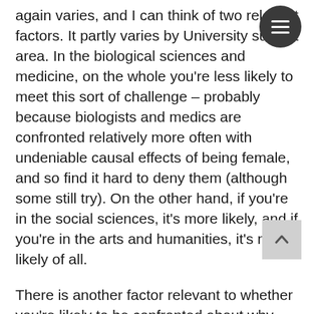again varies, and I can think of two relevant factors. It partly varies by University subject area. In the biological sciences and medicine, on the whole you're less likely to meet this sort of challenge – probably because biologists and medics are confronted relatively more often with undeniable causal effects of being female, and so find it hard to deny them (although some still try). On the other hand, if you're in the social sciences, it's more likely, and if you're in the arts and humanities, it's most likely of all.
There is another factor relevant to whether you're likely to be confronted about why you're not talking about gender identity. It also varies by – and